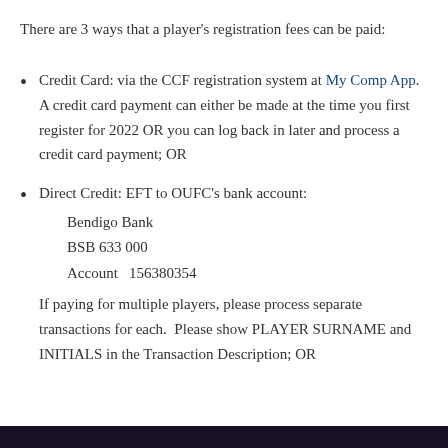There are 3 ways that a player's registration fees can be paid:
Credit Card: via the CCF registration system at My Comp App.  A credit card payment can either be made at the time you first register for 2022 OR you can log back in later and process a credit card payment; OR
Direct Credit: EFT to OUFC's bank account:
Bendigo Bank
BSB 633 000
Account   156380354
If paying for multiple players, please process separate transactions for each.  Please show PLAYER SURNAME and INITIALS in the Transaction Description; OR